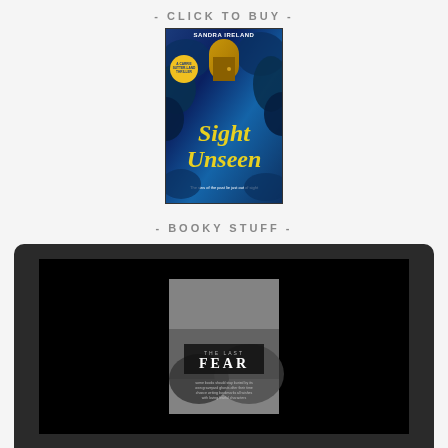- CLICK TO BUY -
[Figure (photo): Book cover for 'Sight Unseen' by Sandra Ireland — a thriller novel with a blue-toned cover showing a door with foliage, yellow badge on left, title in yellow italic serif font, tagline at bottom]
- BOOKY STUFF -
[Figure (screenshot): Laptop screen showing a dark display with a book cover or promotional image for 'FEAR' in the center, white text on dark background]